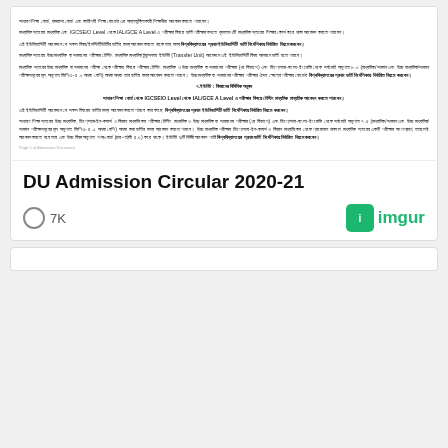[Figure (screenshot): Scanned Bengali document showing DU Admission Circular 2020-21 with paragraphs in Bengali script including IGCSE/O Level, IAL/GCE A Level references and bold text instructions]
DU Admission Circular 2020-21
7K views
[Figure (logo): imgur logo with green icon and text]